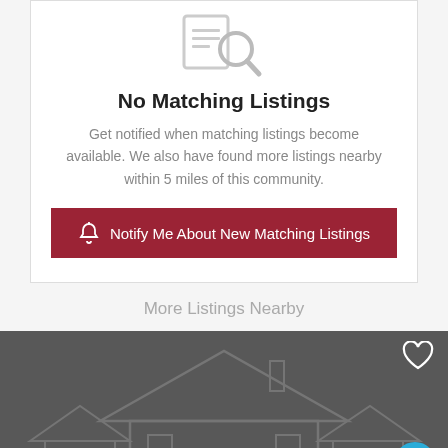[Figure (illustration): Search icon showing a document with a magnifying glass, in light gray]
No Matching Listings
Get notified when matching listings become available. We also have found more listings nearby within 5 miles of this community.
Notify Me About New Matching Listings
More Listings Nearby
[Figure (photo): Dark gray placeholder card with a faint house outline watermark and 'Loading Photo...' text in the lower portion, with a heart icon in the top right and a teal chat bubble icon in the bottom right]